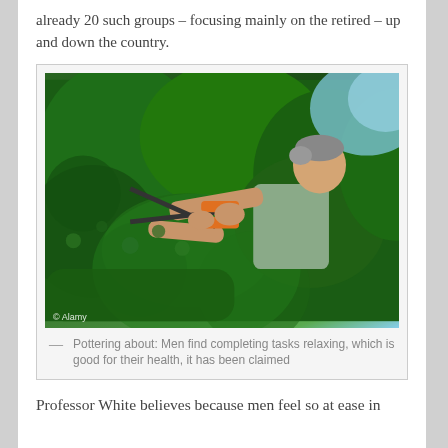already 20 such groups – focusing mainly on the retired – up and down the country.
[Figure (photo): A middle-aged man with grey hair trimming a large green topiary hedge with large orange-handled shears, outdoors in a garden. © Alamy watermark in lower left.]
— Pottering about: Men find completing tasks relaxing, which is good for their health, it has been claimed
Professor White believes because men feel so at ease in